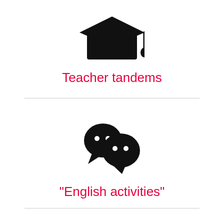[Figure (illustration): Graduation cap (mortarboard) icon in black, partially visible at top of page]
Teacher tandems
[Figure (illustration): Two overlapping speech bubble chat icons in black (WeChat-style messaging icon)]
"English activities"